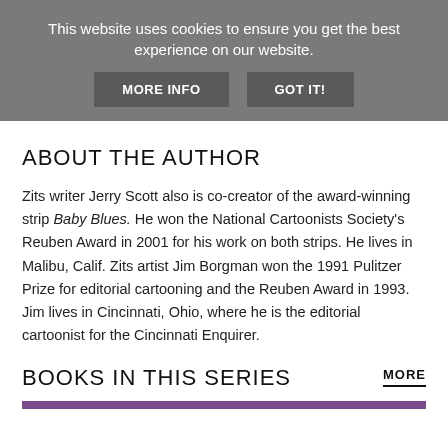This website uses cookies to ensure you get the best experience on our website.
MORE INFO
GOT IT!
ABOUT THE AUTHOR
Zits writer Jerry Scott also is co-creator of the award-winning strip Baby Blues. He won the National Cartoonists Society's Reuben Award in 2001 for his work on both strips. He lives in Malibu, Calif. Zits artist Jim Borgman won the 1991 Pulitzer Prize for editorial cartooning and the Reuben Award in 1993. Jim lives in Cincinnati, Ohio, where he is the editorial cartoonist for the Cincinnati Enquirer.
BOOKS IN THIS SERIES
MORE